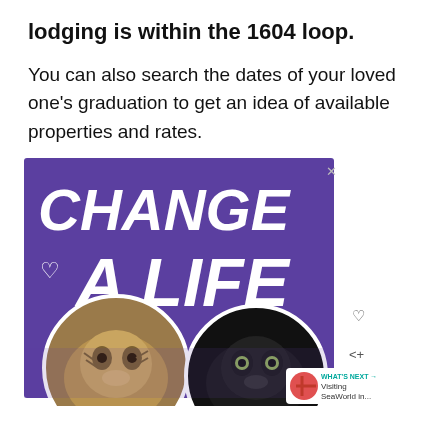lodging is within the 1604 loop.
You can also search the dates of your loved one’s graduation to get an idea of available properties and rates.
[Figure (illustration): Advertisement banner with purple background showing 'CHANGE A LIFE' text in large bold italic white letters with a heart outline, and two cat photos (a tabby and a black cat) at the bottom. Includes a close button, heart and share icons on the right side, and a 'WHAT'S NEXT → Visiting SeaWorld in...' strip in the bottom right corner.]